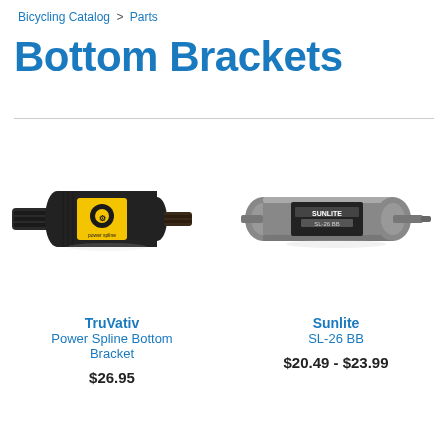Bicycling Catalog > Parts
Bottom Brackets
[Figure (photo): TruVativ Power Spline Bottom Bracket product photo — black cylindrical bottom bracket with yellow Power Spline branding label]
TruVativ
Power Spline Bottom Bracket
$26.95
[Figure (photo): Sunlite SL-26 BB product photo — gray square-taper bottom bracket with Sunlite branding label]
Sunlite
SL-26 BB
$20.49 - $23.99